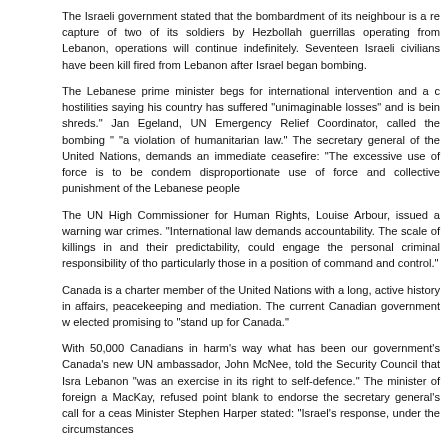The Israeli government stated that the bombardment of its neighbour is a response to the capture of two of its soldiers by Hezbollah guerrillas operating from Lebanon, and that operations will continue indefinitely. Seventeen Israeli civilians have been killed by rockets fired from Lebanon after Israel began bombing.
The Lebanese prime minister begs for international intervention and a ceasefire to hostilities saying his country has suffered "unimaginable losses" and is being "torn into shreds." Jan Egeland, UN Emergency Relief Coordinator, called the bombing "a disgrace" and "a violation of humanitarian law." The secretary general of the United Nations, Kofi Annan, demands an immediate ceasefire: "The excessive use of force is to be condemned. The disproportionate use of force and collective punishment of the Lebanese people is wrong."
The UN High Commissioner for Human Rights, Louise Arbour, issued a warning about possible war crimes. "International law demands accountability. The scale of killings in the region, and their predictability, could engage the personal criminal responsibility of those involved, particularly those in a position of command and control."
Canada is a charter member of the United Nations with a long, active history in international affairs, peacekeeping and mediation. The current Canadian government was recently elected promising to "stand up for Canada."
With 50,000 Canadians in harm's way what has been our government's response? Canada's new UN ambassador, John McNee, told the Security Council that Israel's attack on Lebanon "was an exercise in its right to self-defence." The minister of foreign affairs, Peter MacKay, refused point blank to endorse the secretary general's call for a ceasefire. Prime Minister Stephen Harper stated: "Israel's response, under the circumstances, has been measured." The